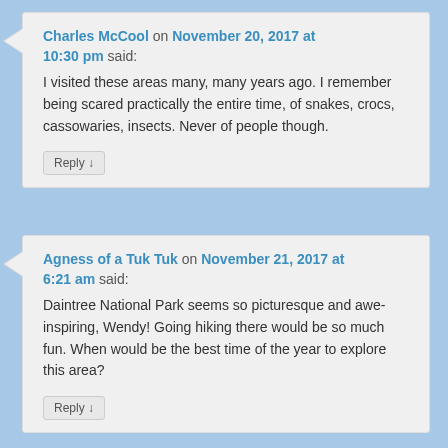Charles McCool on November 20, 2017 at 10:30 pm said:
I visited these areas many, many years ago. I remember being scared practically the entire time, of snakes, crocs, cassowaries, insects. Never of people though.
Reply ↓
Agness of a Tuk Tuk on November 21, 2017 at 6:21 am said:
Daintree National Park seems so picturesque and awe-inspiring, Wendy! Going hiking there would be so much fun. When would be the best time of the year to explore this area?
Reply ↓